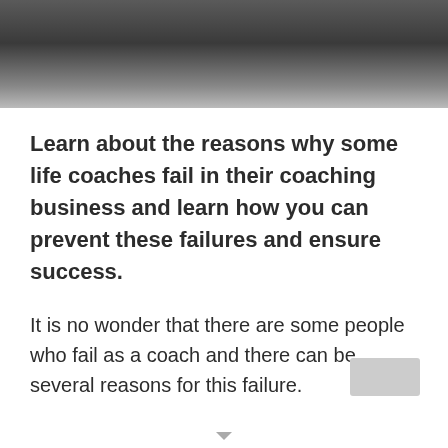[Figure (photo): Dark photograph showing a blurred interior space, partially cropped at top of page]
Learn about the reasons why some life coaches fail in their coaching business and learn how you can prevent these failures and ensure success.
It is no wonder that there are some people who fail as a coach and there can be several reasons for this failure.